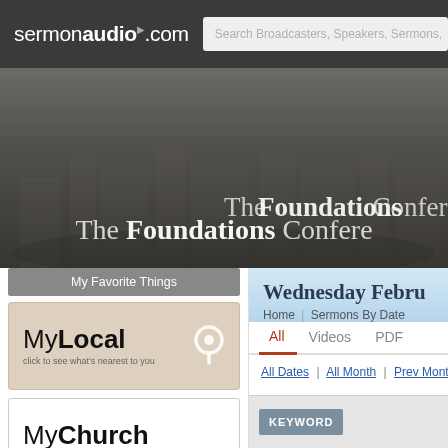sermonaudio.com | Search Broadcasters, Speakers, Sermons,
[Figure (screenshot): Banner image showing 'The Foundations Conference' text over a dark background with faint building silhouette]
My Favorite Things
[Figure (logo): MyLocal logo with location pin icon and text 'click to see what's nearest to you']
[Figure (logo): MyChurch logo with text 'click to specify your home church']
Home
Newsroom, ALL
Events | Notices | Blogs
Newest Audio | Video | Clips
Wednesday Febru
Home | Sermons By Date
All  Videos  PDF
All Dates | All Month | Prev Month
KEYWORD